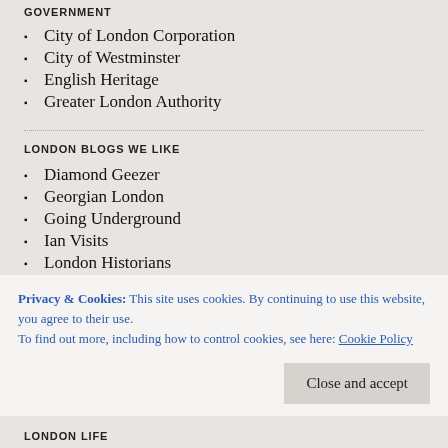GOVERNMENT
City of London Corporation
City of Westminster
English Heritage
Greater London Authority
LONDON BLOGS WE LIKE
Diamond Geezer
Georgian London
Going Underground
Ian Visits
London Historians
Londonist
Privacy & Cookies: This site uses cookies. By continuing to use this website, you agree to their use.
To find out more, including how to control cookies, see here: Cookie Policy
Close and accept
LONDON LIFE